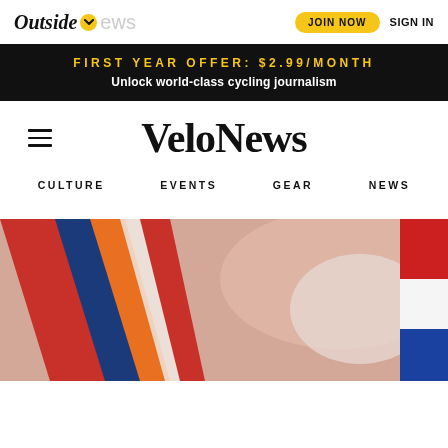Outside VeloNews — JOIN NOW   SIGN IN
FIRST YEAR OFFER: $2.99/MONTH
Unlock world-class cycling journalism
VeloNews
CULTURE
EVENTS
GEAR
NEWS
[Figure (photo): Bottom portion of a cycling-related photograph showing colorful bicycle equipment on a pinkish-tan background]